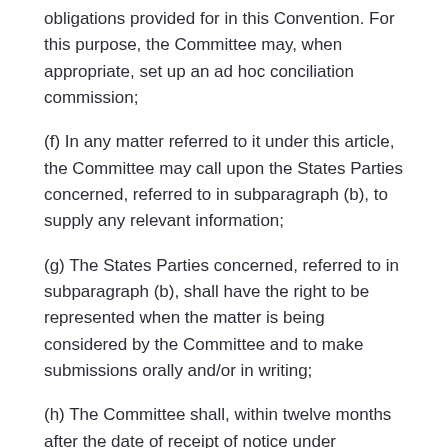obligations provided for in this Convention. For this purpose, the Committee may, when appropriate, set up an ad hoc conciliation commission;
(f) In any matter referred to it under this article, the Committee may call upon the States Parties concerned, referred to in subparagraph (b), to supply any relevant information;
(g) The States Parties concerned, referred to in subparagraph (b), shall have the right to be represented when the matter is being considered by the Committee and to make submissions orally and/or in writing;
(h) The Committee shall, within twelve months after the date of receipt of notice under subparagraph (b), submit a report: